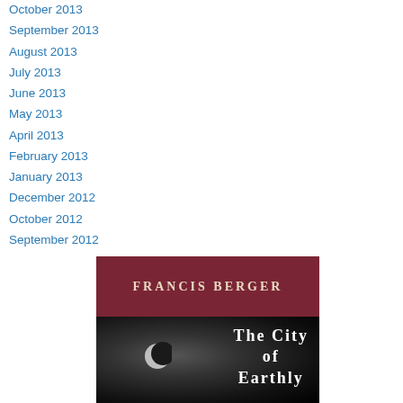October 2013
September 2013
August 2013
July 2013
June 2013
May 2013
April 2013
February 2013
January 2013
December 2012
October 2012
September 2012
[Figure (illustration): Book cover for 'The City of Earthly' by Francis Berger. Top section has dark red/maroon background with author name 'Francis Berger' in spaced serif capitals. Bottom section shows a dark moody scene with a crescent moon and the title 'The City of Earthly' in white serif text.]